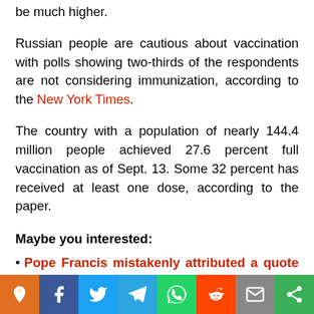be much higher.
Russian people are cautious about vaccination with polls showing two-thirds of the respondents are not considering immunization, according to the New York Times.
The country with a population of nearly 144.4 million people achieved 27.6 percent full vaccination as of Sept. 13. Some 32 percent has received at least one dose, according to the paper.
Maybe you interested:
Pope Francis mistakenly attributed a quote from President Putin to Slovenian Melania about A...